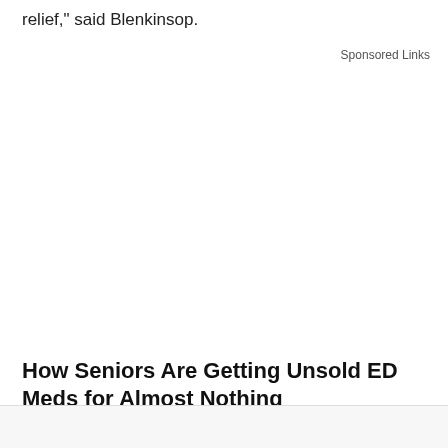relief," said Blenkinsop.
Sponsored Links
[Figure (other): Advertisement area (blank white space)]
How Seniors Are Getting Unsold ED Meds for Almost Nothing
Public Health Forum by Friday Plans